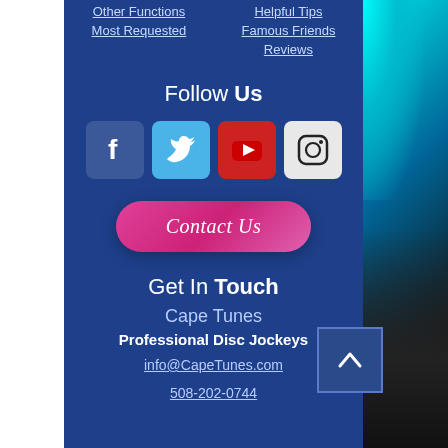Other Functions
Most Requested
Helpful Tips
Famous Friends
Reviews
Follow Us
[Figure (infographic): Social media icons: Facebook (blue square with F), Twitter (light blue square with bird), YouTube (red square with play button), Instagram (light gray square with camera outline)]
Contact Us
Get In Touch
Cape Tunes
Professional Disc Jockeys
info@CapeTunes.com
508-202-0744